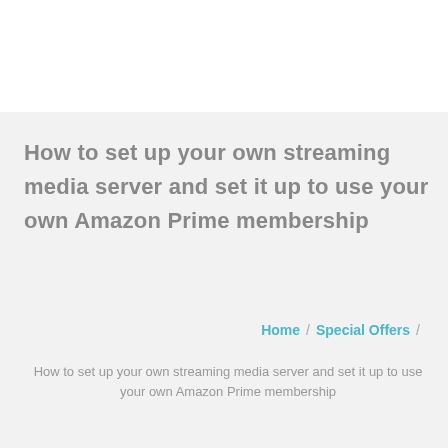How to set up your own streaming media server and set it up to use your own Amazon Prime membership
Home / Special Offers / How to set up your own streaming media server and set it up to use your own Amazon Prime membership